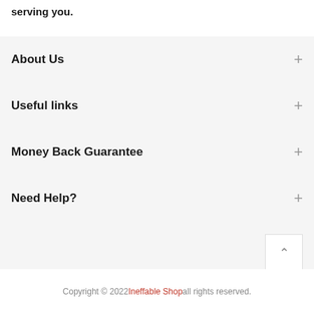serving you.
About Us
Useful links
Money Back Guarantee
Need Help?
Copyright © 2022 Ineffable Shop all rights reserved.